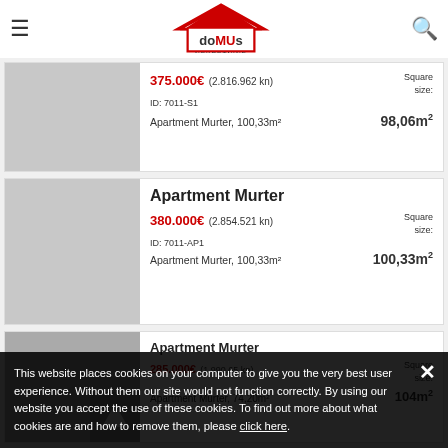DOMUS NEKRETNINE
375.000€ (2.816.962 kn) ID: 7011-S1 Square size: 98,06m² Apartment Murter, 100,33m²
Apartment Murter
380.000€ (2.854.521 kn) ID: 7011-AP1 Square size: 100,33m² Apartment Murter, 100,33m²
Apartment Murter
285.000€ (1.990.65 kn) Square size: 104m²
This website places cookies on your computer to give you the very best user experience. Without them our site would not function correctly. By using our website you accept the use of these cookies. To find out more about what cookies are and how to remove them, please click here.